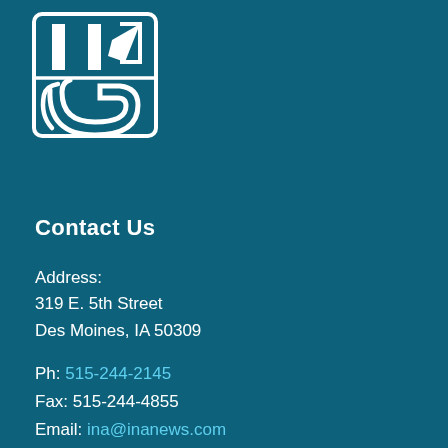[Figure (logo): INA organization logo — white outline square with stylized letters and a swooping curved line on teal background]
Contact Us
Address:
319 E. 5th Street
Des Moines, IA 50309
Ph: 515-244-2145
Fax: 515-244-4855
Email: ina@inanews.com